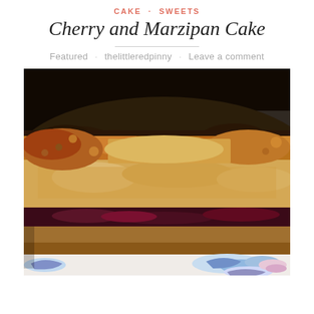CAKE · SWEETS
Cherry and Marzipan Cake
Featured · thelittleredpinny · Leave a comment
[Figure (photo): Close-up photo of a slice of cherry and marzipan cake on a blue and white plate, showing layers of cake with dark cherry filling and a crumbly golden top]